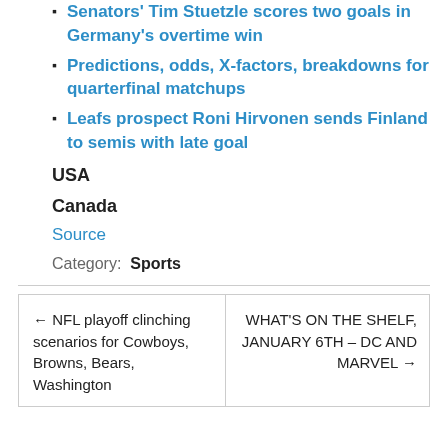Senators' Tim Stuetzle scores two goals in Germany's overtime win
Predictions, odds, X-factors, breakdowns for quarterfinal matchups
Leafs prospect Roni Hirvonen sends Finland to semis with late goal
USA
Canada
Source
Category: Sports
← NFL playoff clinching scenarios for Cowboys, Browns, Bears, Washington
WHAT'S ON THE SHELF, JANUARY 6TH – DC AND MARVEL →